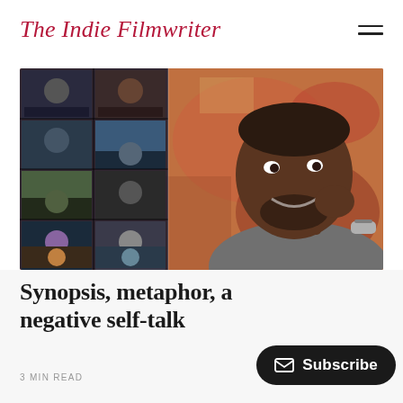The Indie Filmwriter
[Figure (photo): Composite image: left side shows a grid of video call participants (Zoom-style), right side shows a smiling Black man with a beard resting his chin on his hand, wearing a grey shirt and a smartwatch, against a colorful patterned background.]
Synopsis, metaphor, and negative self-talk
3 MIN READ